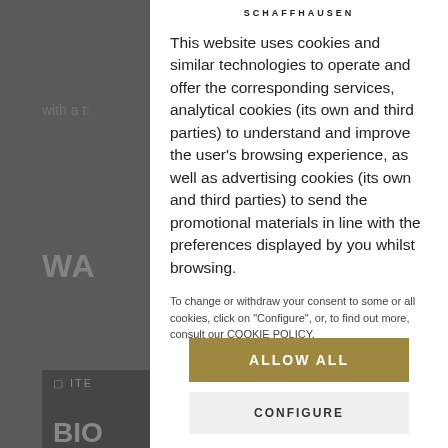[Figure (screenshot): Background of a website with grey overlay, showing partial text 'with a t...' at top left, a bold heading 'WA' and '32' partially visible, and a dark banner area with partial text 'ITE', 'BIO', 'AB']
SCHAFFHAUSEN
This website uses cookies and similar technologies to operate and offer the corresponding services, analytical cookies (its own and third parties) to understand and improve the user's browsing experience, as well as advertising cookies (its own and third parties) to send the promotional materials in line with the preferences displayed by you whilst browsing.
To change or withdraw your consent to some or all cookies, click on "Configure", or, to find out more, consult our COOKIE POLICY.
ALLOW ALL
CONFIGURE